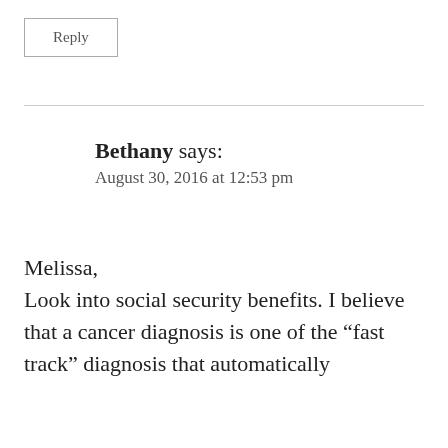Reply
Bethany says:
August 30, 2016 at 12:53 pm
Melissa,
Look into social security benefits. I believe that a cancer diagnosis is one of the “fast track” diagnosis that automatically